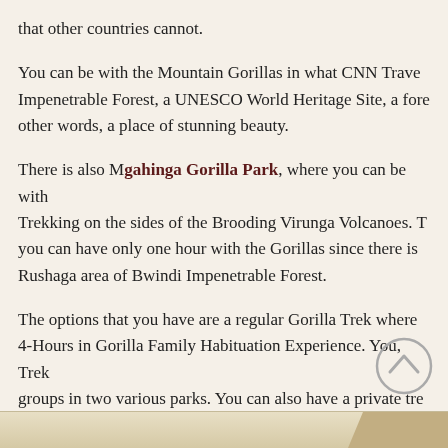that other countries cannot.
You can be with the Mountain Gorillas in what CNN Travel Impenetrable Forest, a UNESCO World Heritage Site, a fore other words, a place of stunning beauty.
There is also Mgahinga Gorilla Park, where you can be with Trekking on the sides of the Brooding Virunga Volcanoes. T you can have only one hour with the Gorillas since there is Rushaga area of Bwindi Impenetrable Forest.
The options that you have are a regular Gorilla Trek where 4-Hours in Gorilla Family Habituation Experience. You, Trek groups in two various parks. You can also have a private tre